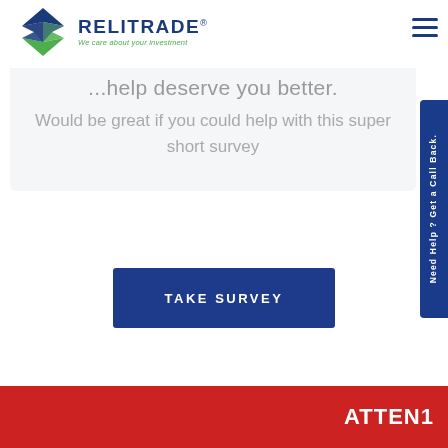[Figure (logo): Relitrade company logo with green and blue diamond/arrow shape, text 'RELITRADE' in dark blue with registered trademark, tagline 'We care about your investment' in green italic]
help deserve you better.
Would be great if you could help with this super short survey
TAKE SURVEY
Need Help ? Get a Call Back.
ATTEN1